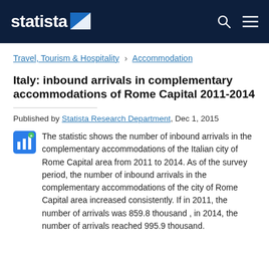statista
Travel, Tourism & Hospitality › Accommodation
Italy: inbound arrivals in complementary accommodations of Rome Capital 2011-2014
Published by Statista Research Department, Dec 1, 2015
The statistic shows the number of inbound arrivals in the complementary accommodations of the Italian city of Rome Capital area from 2011 to 2014. As of the survey period, the number of inbound arrivals in the complementary accommodations of the city of Rome Capital area increased consistently. If in 2011, the number of arrivals was 859.8 thousand , in 2014, the number of arrivals reached 995.9 thousand.